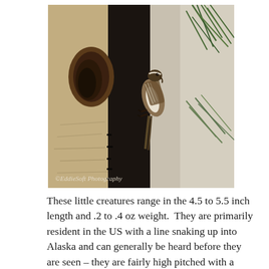[Figure (photo): A small brown and white bird (likely a Brown Creeper) clinging to the dark bark of a tree trunk, with pine needles visible in the upper right. A tree hollow is visible on the left side of the bark. Watermark reads: ©EddieSoft Photography]
These little creatures range in the 4.5 to 5.5 inch length and .2 to .4 oz weight.  They are primarily resident in the US with a line snaking up into Alaska and can generally be heard before they are seen – they are fairly high pitched with a warbling like